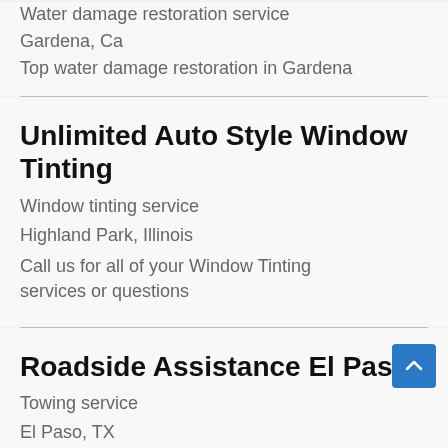Water damage restoration service
Gardena, Ca
Top water damage restoration in Gardena
Unlimited Auto Style Window Tinting
Window tinting service
Highland Park, Illinois
Call us for all of your Window Tinting services or questions
Roadside Assistance El Paso
Towing service
El Paso, TX